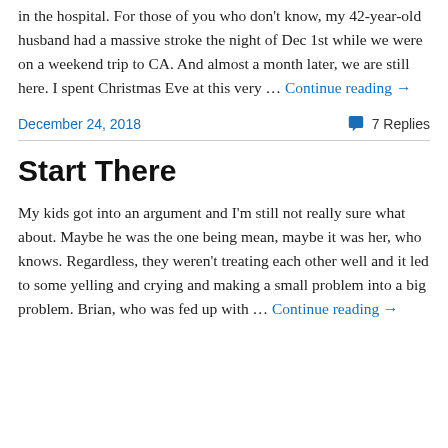in the hospital. For those of you who don't know, my 42-year-old husband had a massive stroke the night of Dec 1st while we were on a weekend trip to CA. And almost a month later, we are still here. I spent Christmas Eve at this very … Continue reading →
December 24, 2018
7 Replies
Start There
My kids got into an argument and I'm still not really sure what about. Maybe he was the one being mean, maybe it was her, who knows. Regardless, they weren't treating each other well and it led to some yelling and crying and making a small problem into a big problem. Brian, who was fed up with … Continue reading →